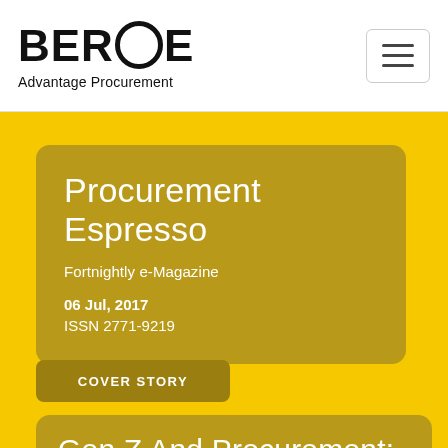BEROE — Advantage Procurement
Procurement Espresso
Fortnightly e-Magazine
06 Jul, 2017
ISSN 2771-9219
COVER STORY
Gen Z And Procurement: Made